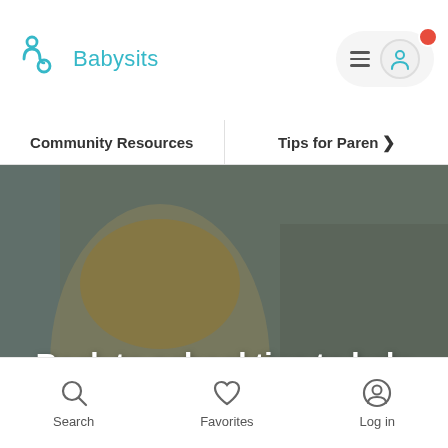Babysits
Community Resources | Tips for Paren >
[Figure (photo): Children doing homework at a wooden table in a home setting. A boy in the foreground holds a pencil and works on papers, a younger child in the background also at the table. Home interior with clock on wall visible.]
Back to school tips to help you get organised (Free Printables)
Search   Favorites   Log in